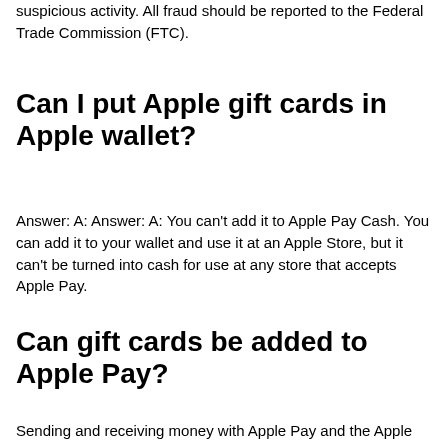suspicious activity. All fraud should be reported to the Federal Trade Commission (FTC).
Can I put Apple gift cards in Apple wallet?
Answer: A: Answer: A: You can’t add it to Apple Pay Cash. You can add it to your wallet and use it at an Apple Store, but it can’t be turned into cash for use at any store that accepts Apple Pay.
Can gift cards be added to Apple Pay?
Sending and receiving money with Apple Pay and the Apple